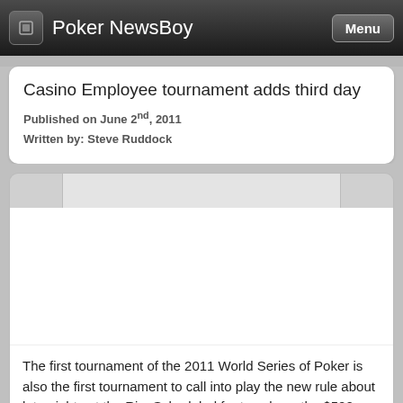Poker NewsBoy
Casino Employee tournament adds third day
Published on June 2nd, 2011
Written by: Steve Ruddock
[Figure (screenshot): Navigation tabs area with left, center, and right tab sections]
[Figure (photo): White image placeholder area for article photo]
The first tournament of the 2011 World Series of Poker is also the first tournament to call into play the new rule about late nights at the Rio. Scheduled for two days, the $500 Casino Employee tournament saw action called to a stop late last night (about 3AM